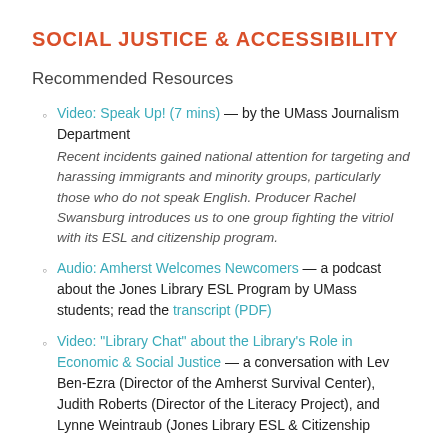SOCIAL JUSTICE & ACCESSIBILITY
Recommended Resources
Video: Speak Up! (7 mins) — by the UMass Journalism Department Recent incidents gained national attention for targeting and harassing immigrants and minority groups, particularly those who do not speak English. Producer Rachel Swansburg introduces us to one group fighting the vitriol with its ESL and citizenship program.
Audio: Amherst Welcomes Newcomers — a podcast about the Jones Library ESL Program by UMass students; read the transcript (PDF)
Video: "Library Chat" about the Library's Role in Economic & Social Justice — a conversation with Lev Ben-Ezra (Director of the Amherst Survival Center), Judith Roberts (Director of the Literacy Project), and Lynne Weintraub (Jones Library ESL & Citizenship